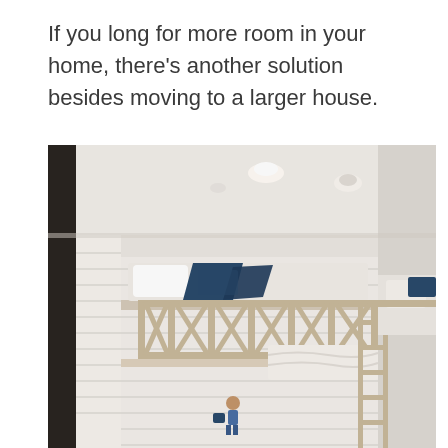If you long for more room in your home, there's another solution besides moving to a larger house.
[Figure (photo): Interior photo of a built-in bunk bed room with white shiplap walls, wooden railings with X-cross pattern, white bedding, blue decorative pillows on the upper bunk, a ladder on the right side, and a recessed ceiling with light fixtures. A small figure (possibly a toy or child) is visible on the lower bunk. The room has a clean, coastal/farmhouse aesthetic.]